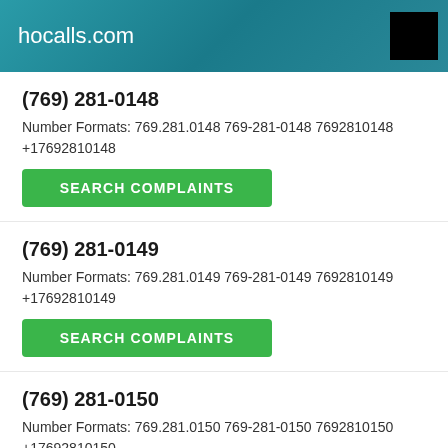hocalls.com
(769) 281-0148
Number Formats: 769.281.0148 769-281-0148 7692810148 +17692810148
SEARCH COMPLAINTS
(769) 281-0149
Number Formats: 769.281.0149 769-281-0149 7692810149 +17692810149
SEARCH COMPLAINTS
(769) 281-0150
Number Formats: 769.281.0150 769-281-0150 7692810150 +17692810150
SEARCH COMPLAINTS